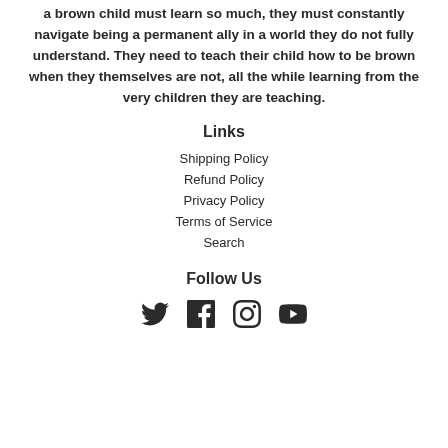a brown child must learn so much, they must constantly navigate being a permanent ally in a world they do not fully understand. They need to teach their child how to be brown when they themselves are not, all the while learning from the very children they are teaching.
Links
Shipping Policy
Refund Policy
Privacy Policy
Terms of Service
Search
Follow Us
[Figure (other): Social media icons: Twitter, Facebook, Instagram, YouTube]